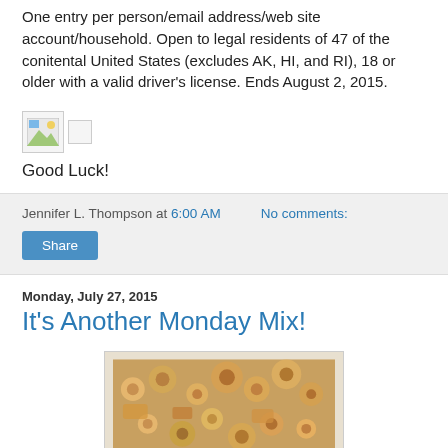One entry per person/email address/web site account/household. Open to legal residents of 47 of the conitental United States (excludes AK, HI, and RI), 18 or older with a valid driver's license. Ends August 2, 2015.
[Figure (illustration): Small broken image icon and a small white square icon]
Good Luck!
Jennifer L. Thompson at 6:00 AM    No comments:
Share
Monday, July 27, 2015
It's Another Monday Mix!
[Figure (photo): Close-up photo of a snack mix with cereal rings and nuts]